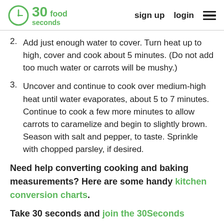30Seconds food  sign up  login
2. Add just enough water to cover. Turn heat up to high, cover and cook about 5 minutes. (Do not add too much water or carrots will be mushy.)
3. Uncover and continue to cook over medium-high heat until water evaporates, about 5 to 7 minutes. Continue to cook a few more minutes to allow carrots to caramelize and begin to slightly brown. Season with salt and pepper, to taste. Sprinkle with chopped parsley, if desired.
Need help converting cooking and baking measurements? Here are some handy kitchen conversion charts.
Take 30 seconds and join the 30Seconds